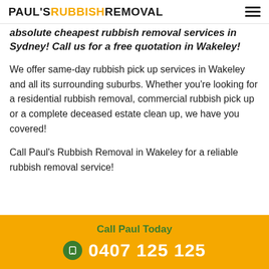PAUL'S RUBBISH REMOVAL
absolute cheapest rubbish removal services in Sydney! Call us for a free quotation in Wakeley!
We offer same-day rubbish pick up services in Wakeley and all its surrounding suburbs. Whether you're looking for a residential rubbish removal, commercial rubbish pick up or a complete deceased estate clean up, we have you covered!
Call Paul's Rubbish Removal in Wakeley for a reliable rubbish removal service!
Call Paul Today
0407 125 125